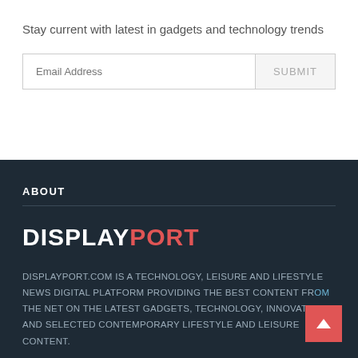Stay current with latest in gadgets and technology trends
[Figure (other): Email subscription form with Email Address input field and SUBMIT button]
ABOUT
DISPLAYPORT
DISPLAYPORT.COM IS A TECHNOLOGY, LEISURE AND LIFESTYLE NEWS DIGITAL PLATFORM PROVIDING THE BEST CONTENT FROM THE NET ON THE LATEST GADGETS, TECHNOLOGY, INNOVATIONS AND SELECTED CONTEMPORARY LIFESTYLE AND LEISURE CONTENT.